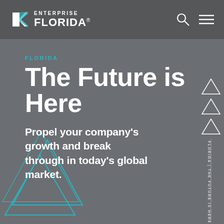[Figure (logo): Enterprise Florida logo with angular K arrow icon and ENTERPRISE FLORIDA wordmark in white]
[Figure (illustration): Search icon (circle with handle) and hamburger menu icon in white on dark header bar]
FLORIDA
The Future is Here
Propel your company's growth and break through in today's global market.
[Figure (illustration): Decorative teal outlined triangle shapes on the left side and stacked outlined triangles on the right side with vertical text FLORIDA | THE FUTURE IS HERE.]